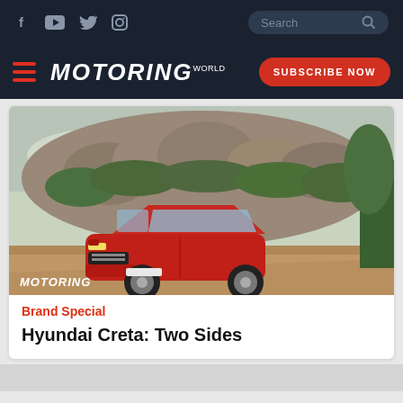Social icons: Facebook, YouTube, Twitter, Instagram | Search bar
MOTORING | SUBSCRIBE NOW
[Figure (photo): A red Hyundai Creta SUV parked on a dirt road in front of a rocky hill with lush green vegetation. The Motoring logo watermark appears in the bottom left corner of the image.]
Brand Special
Hyundai Creta: Two Sides